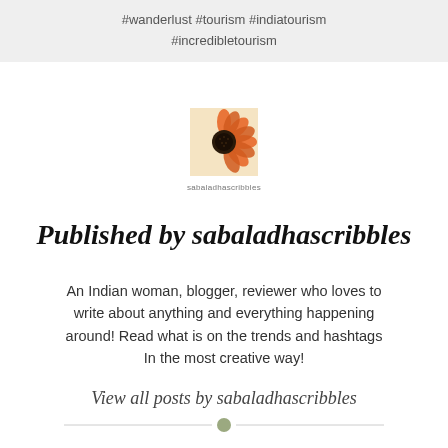#wanderlust #tourism #indiatourism #incredibletourism
[Figure (photo): Small square avatar image showing an orange gerbera daisy flower with label 'sabaladhascribbles' below]
Published by sabaladhascribbles
An Indian woman, blogger, reviewer who loves to write about anything and everything happening around! Read what is on the trends and hashtags In the most creative way!
View all posts by sabaladhascribbles